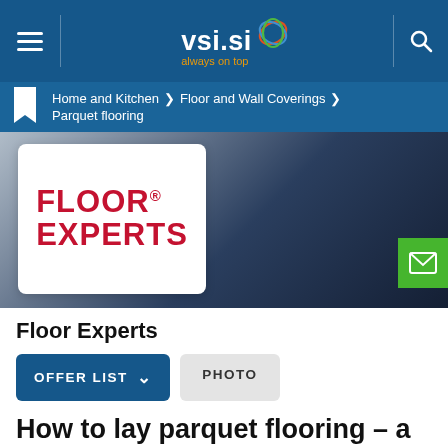vsi.si always on top
Home and Kitchen > Floor and Wall Coverings > Parquet flooring
[Figure (logo): Floor Experts brand logo — red bold text reading FLOOR® EXPERTS on white card background, set against a dark blue gradient banner]
Floor Experts
OFFER LIST   PHOTO
How to lay parquet flooring – a